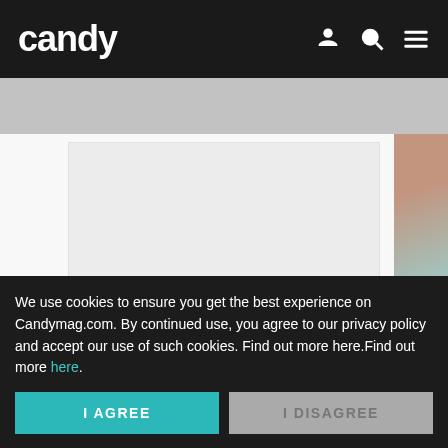candy
[Figure (other): Gray advertisement banner placeholder below navigation bar]
[Figure (other): Light gray advertisement placeholder box in main content area]
We use cookies to ensure you get the best experience on Candymag.com. By continued use, you agree to our privacy policy and accept our use of such cookies. Find out more here.Find out more here.
I AGREE
I DISAGREE